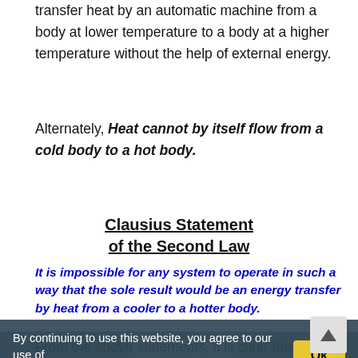transfer heat by an automatic machine from a body at lower temperature to a body at a higher temperature without the help of external energy.
Alternately, Heat cannot by itself flow from a cold body to a hot body.
Clausius Statement of the Second Law
It is impossible for any system to operate in such a way that the sole result would be an energy transfer by heat from a cooler to a hotter body.
[Figure (illustration): Diagram showing heat flow between hot and cold bodies with 'Yes!' and 'No!' labels and a metal bar, partially obscured by cookie banner]
By continuing to use this website, you agree to our use of Cookies
From the above statements, it is clear that...